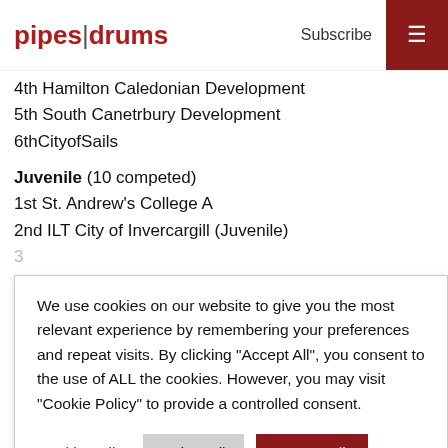pipes|drums  Subscribe ☰
4th Hamilton Caledonian Development
5th South Canetrbury Development
6thCityofSails
Juvenile (10 competed)
1st St. Andrew's College A
2nd ILT City of Invercargill (Juvenile)
We use cookies on our website to give you the most relevant experience by remembering your preferences and repeat visits. By clicking "Accept All", you consent to the use of ALL the cookies. However, you may visit "Cookie Policy" to provide a controlled consent.
Cookie Policy  Reject All  Accept All
Related Stories